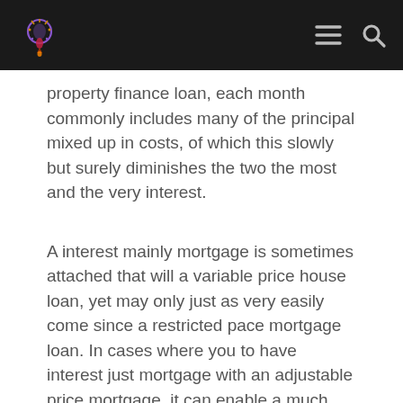[Logo] [Menu] [Search]
property finance loan, each month commonly includes many of the principal mixed up in costs, of which this slowly but surely diminishes the two the most and the very interest.
A interest mainly mortgage is sometimes attached that will a variable price house loan, yet may only just as very easily come since a restricted pace mortgage loan. In cases where you to have interest just mortgage with an adjustable price mortgage, it can enable a much better reduction with the very rate each thirty days.
The big suggestion of a new only loan is some little